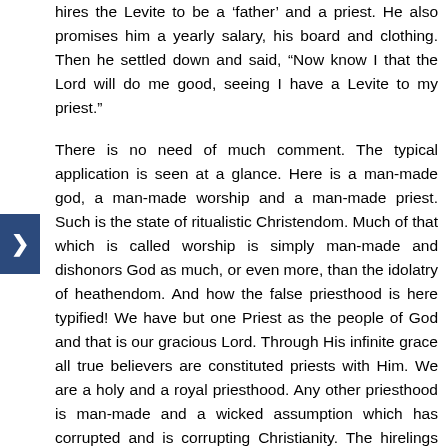hires the Levite to be a 'father' and a priest. He also promises him a yearly salary, his board and clothing. Then he settled down and said, "Now know I that the Lord will do me good, seeing I have a Levite to my priest."
There is no need of much comment. The typical application is seen at a glance. Here is a man-made god, a man-made worship and a man-made priest. Such is the state of ritualistic Christendom. Much of that which is called worship is simply man-made and dishonors God as much, or even more, than the idolatry of heathendom. And how the false priesthood is here typified! We have but one Priest as the people of God and that is our gracious Lord. Through His infinite grace all true believers are constituted priests with Him. We are a holy and a royal priesthood. Any other priesthood is man-made and a wicked assumption which has corrupted and is corrupting Christianity. The hirelings too are represented in this scene. Religious service is so much reduced to a commercial basis. And there is the delusion of thinking that the Lord must surely bless and